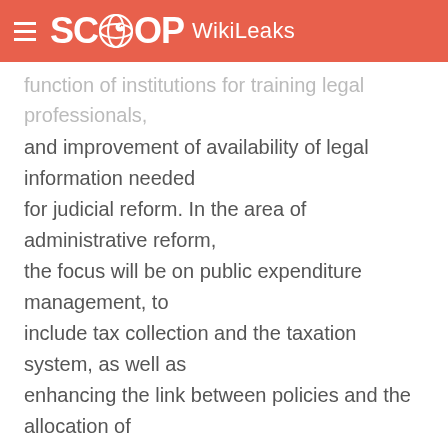SCOOP WikiLeaks
function of institutions for training legal professionals, and improvement of availability of legal information needed for judicial reform. In the area of administrative reform, the focus will be on public expenditure management, to include tax collection and the taxation system, as well as enhancing the link between policies and the allocation of financial resources.
9. (U) COMMENT. We are not convinced that the GOJ